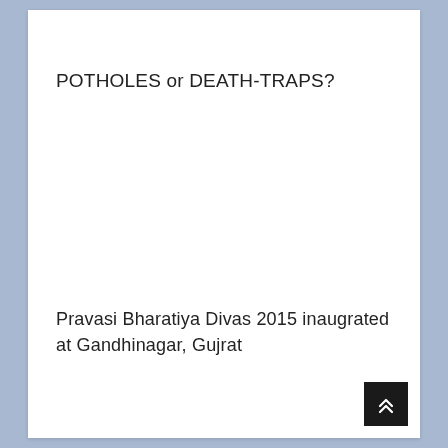POTHOLES or DEATH-TRAPS?
Pravasi Bharatiya Divas 2015 inaugrated at Gandhinagar, Gujrat